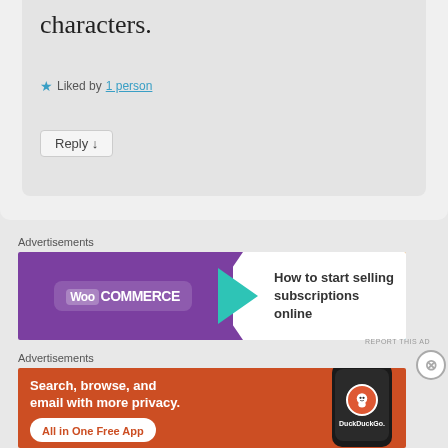characters.
★ Liked by 1 person
Reply ↓
Advertisements
[Figure (illustration): WooCommerce advertisement banner: purple background with WooCommerce logo on left with teal arrow shape, white right section with text 'How to start selling subscriptions online', orange blob top right, teal blob bottom right.]
REPORT THIS AD
Advertisements
[Figure (illustration): DuckDuckGo advertisement banner: orange-red background with bold white text 'Search, browse, and email with more privacy.' and white pill button 'All in One Free App', right side shows dark smartphone with DuckDuckGo duck logo and DuckDuckGo. text.]